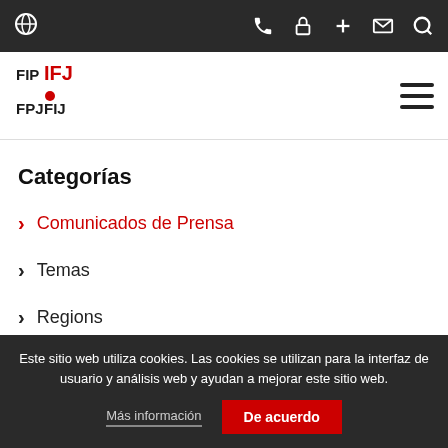IFJ navigation top bar with globe, phone, lock, plus, mail, search icons
[Figure (logo): IFJ FIP FPD logo in black and red]
Categorías
Comunicados de Prensa (active, red)
Temas
Regions
Este sitio web utiliza cookies. Las cookies se utilizan para la interfaz de usuario y análisis web y ayudan a mejorar este sitio web.
Más información
De acuerdo